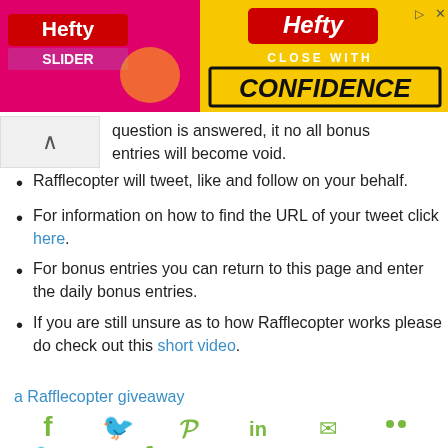[Figure (screenshot): Hefty Slider Bags advertisement banner: pink/magenta left section with Hefty Slider Bags product image and logo, yellow right section with 'HEFTY CLOSE WITH CONFIDENCE' text in bold italic.]
question is answered, it no all bonus entries will become void.
Rafflecopter will tweet, like and follow on your behalf.
For information on how to find the URL of your tweet click here.
For bonus entries you can return to this page and enter the daily bonus entries.
If you are still unsure as to how Rafflecopter works please do check out this short video.
a Rafflecopter giveaway
[Figure (screenshot): Two rows of social media sharing icons in green/olive color: Row 1: Facebook, Twitter, Pinterest, LinkedIn, Email, More. Row 2: Twitter, Facebook, Email, WhatsApp, SMS, More.]